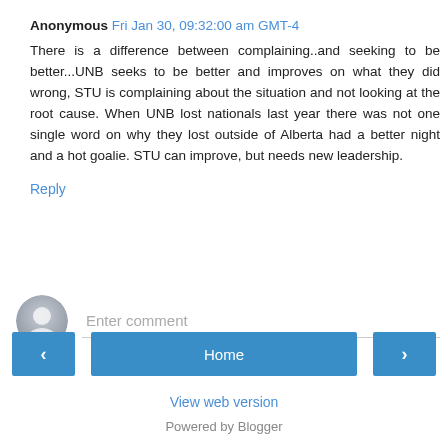Anonymous Fri Jan 30, 09:32:00 am GMT-4
There is a difference between complaining..and seeking to be better...UNB seeks to be better and improves on what they did wrong, STU is complaining about the situation and not looking at the root cause. When UNB lost nationals last year there was not one single word on why they lost outside of Alberta had a better night and a hot goalie. STU can improve, but needs new leadership.
Reply
Enter comment
Home
View web version
Powered by Blogger